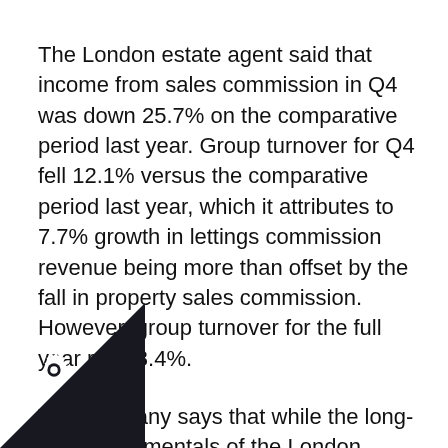The London estate agent said that income from sales commission in Q4 was down 25.7% on the comparative period last year. Group turnover for Q4 fell 12.1% versus the comparative period last year, which it attributes to 7.7% growth in lettings commission revenue being more than offset by the fall in property sales commission. However, group turnover for the full year rose 3.4%.
The company says that while the long-term fundamentals of the London market remain sound, the central London residential property sales market continues to be “subdued”. It also reiterated that it doesn’t expect sales volumes to recover until after the General Election, in May,